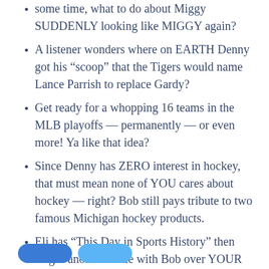some time, what to do about Miggy SUDDENLY looking like MIGGY again?
A listener wonders where on EARTH Denny got his “scoop” that the Tigers would name Lance Parrish to replace Gardy?
Get ready for a whopping 16 teams in the MLB playoffs — permanently — or even more! Ya like that idea?
Since Denny has ZERO interest in hockey, that must mean none of YOU cares about hockey — right? Bob still pays tribute to two famous Michigan hockey products.
Eli has “This Day in Sports History” then wages another battle with Bob over YOUR Mailbag. WHEW! What a DAY! Those stories and more right here. Be ready!